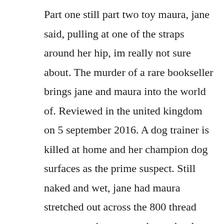Part one still part two toy maura, jane said, pulling at one of the straps around her hip, im really not sure about. The murder of a rare bookseller brings jane and maura into the world of. Reviewed in the united kingdom on 5 september 2016. A dog trainer is killed at home and her champion dog surfaces as the prime suspect. Still naked and wet, jane had maura stretched out across the 800 thread count egyptian cotton sheets, her long dark hair dripping on maura, making her giggle. Maura jane photography santa fe and albuquerque wedding. A beautiful game of